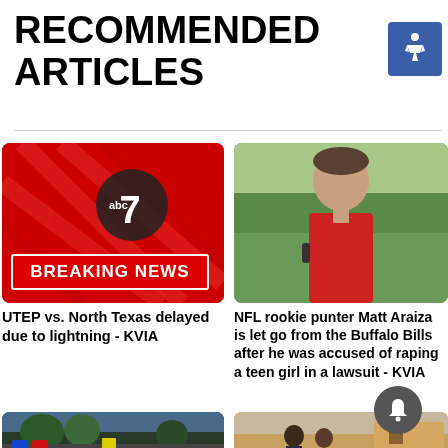RECOMMENDED ARTICLES
[Figure (screenshot): ABC7 Breaking News logo with red diagonal stripes and BREAKING NEWS banner]
[Figure (photo): Young man in red shirt on athletic field being interviewed]
UTEP vs. North Texas delayed due to lightning - KVIA
NFL rookie punter Matt Araiza is let go from the Buffalo Bills after he was accused of raping a teen girl in a lawsuit - KVIA
[Figure (photo): Street scene with police lights and palm trees]
[Figure (photo): Outdoor scene with people and buildings]